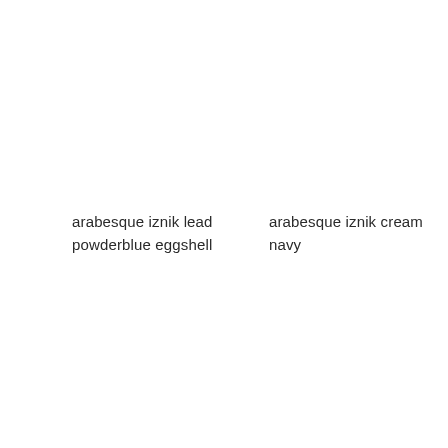arabesque iznik lead powderblue eggshell
arabesque iznik cream navy